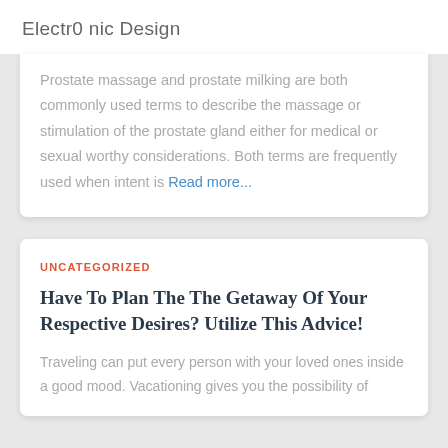Electr0 nic Design
Prostate massage and prostate milking are both commonly used terms to describe the massage or stimulation of the prostate gland either for medical or sexual worthy considerations. Both terms are frequently used when intent is Read more...
UNCATEGORIZED
Have To Plan The The Getaway Of Your Respective Desires? Utilize This Advice!
Traveling can put every person with your loved ones inside a good mood. Vacationing gives you the possibility of